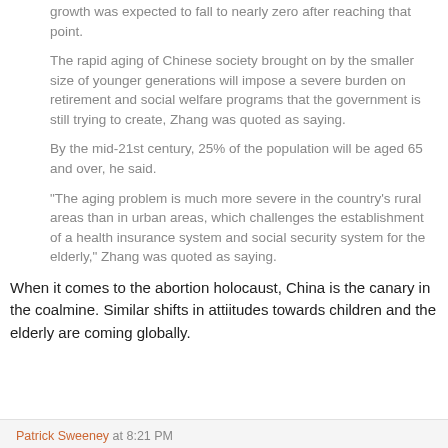growth was expected to fall to nearly zero after reaching that point.
The rapid aging of Chinese society brought on by the smaller size of younger generations will impose a severe burden on retirement and social welfare programs that the government is still trying to create, Zhang was quoted as saying.
By the mid-21st century, 25% of the population will be aged 65 and over, he said.
"The aging problem is much more severe in the country's rural areas than in urban areas, which challenges the establishment of a health insurance system and social security system for the elderly," Zhang was quoted as saying.
When it comes to the abortion holocaust, China is the canary in the coalmine. Similar shifts in attiitudes towards children and the elderly are coming globally.
Patrick Sweeney at 8:21 PM